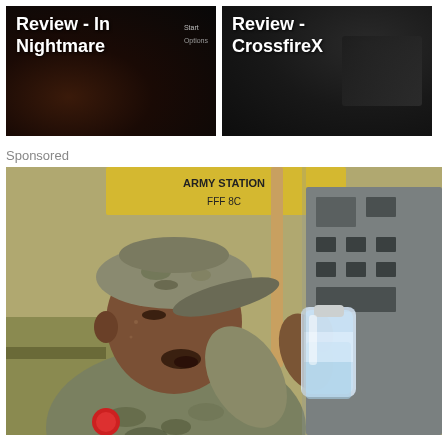[Figure (screenshot): Thumbnail screenshot of a game review titled 'Review - In Nightmare' with dark background and menu options]
[Figure (screenshot): Thumbnail screenshot of a game review titled 'Review - CrossfireX' with dark background showing a weapon]
Sponsored
[Figure (photo): Sponsored photo of a soldier in digital camouflage uniform and cap drinking from a water bottle, with military equipment in the background]